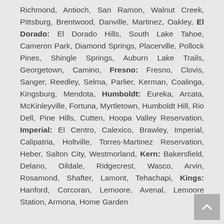Richmond, Antioch, San Ramon, Walnut Creek, Pittsburg, Brentwood, Danville, Martinez, Oakley, El Dorado: El Dorado Hills, South Lake Tahoe, Cameron Park, Diamond Springs, Placerville, Pollock Pines, Shingle Springs, Auburn Lake Trails, Georgetown, Camino, Fresno: Fresno, Clovis, Sanger, Reedley, Selma, Parlier, Kerman, Coalinga, Kingsburg, Mendota, Humboldt: Eureka, Arcata, McKinleyville, Fortuna, Myrtletown, Humboldt Hill, Rio Dell, Pine Hills, Cutten, Hoopa Valley Reservation, Imperial: El Centro, Calexico, Brawley, Imperial, Calipatria, Holtville, Torres-Martinez Reservation, Heber, Salton City, Westmorland, Kern: Bakersfield, Delano, Oildale, Ridgecrest, Wasco, Arvin, Rosamond, Shafter, Lamont, Tehachapi, Kings: Hanford, Corcoran, Lemoore, Avenal, Lemoore Station, Armona, Home Garden